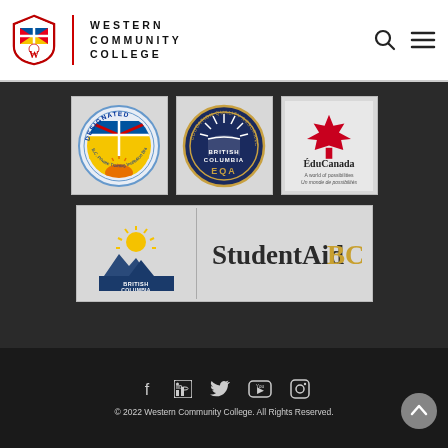[Figure (logo): Western Community College header logo with shield emblem, vertical red divider, and college name in spaced uppercase letters, plus search and menu icons]
[Figure (logo): BC Designated Private Training Institution circular badge]
[Figure (logo): British Columbia Education Quality Assurance (EQA) circular badge]
[Figure (logo): EduCanada - A world of possibilities / Un monde de possibilités logo with red maple leaf]
[Figure (logo): British Columbia StudentAidBC logo with BC provincial emblem and StudentAidBC wordmark]
© 2022 Western Community College. All Rights Reserved.